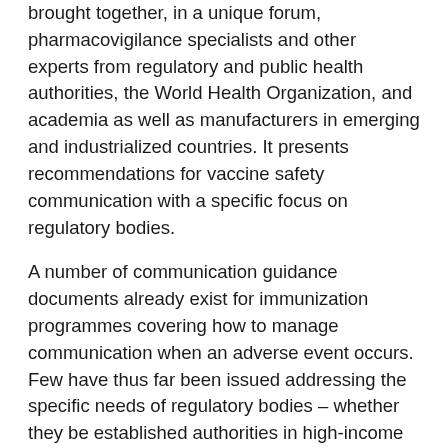brought together, in a unique forum, pharmacovigilance specialists and other experts from regulatory and public health authorities, the World Health Organization, and academia as well as manufacturers in emerging and industrialized countries. It presents recommendations for vaccine safety communication with a specific focus on regulatory bodies.
A number of communication guidance documents already exist for immunization programmes covering how to manage communication when an adverse event occurs. Few have thus far been issued addressing the specific needs of regulatory bodies – whether they be established authorities in high-income countries or developing authorities in resource-limited countries. Little has been published for these groups in relation to communication about risks, uncertainties, safety and safe use of the vaccine products they license. This CIOMS report aims to fill this gap.